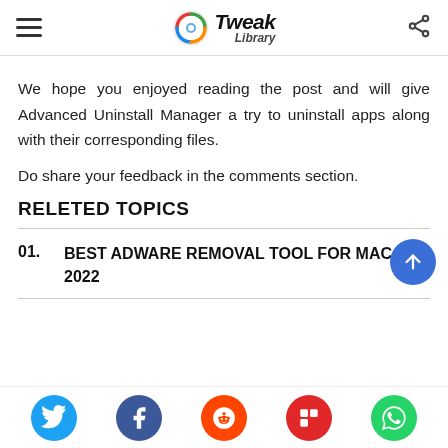Tweak Library
We hope you enjoyed reading the post and will give Advanced Uninstall Manager a try to uninstall apps along with their corresponding files.
Do share your feedback in the comments section.
RELETED TOPICS
01. BEST ADWARE REMOVAL TOOL FOR MAC IN 2022
Social share icons: Twitter, Facebook, Reddit, Flipboard, WhatsApp